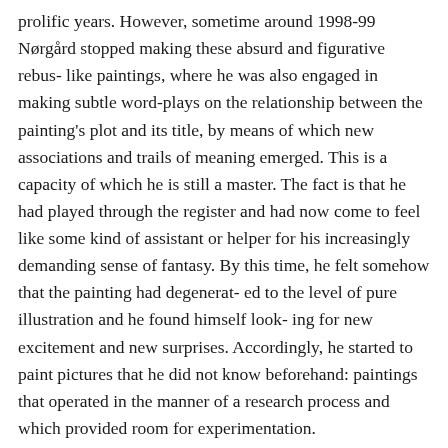prolific years. However, sometime around 1998-99 Nørgård stopped making these absurd and figurative rebus- like paintings, where he was also engaged in making subtle word-plays on the relationship between the painting's plot and its title, by means of which new associations and trails of meaning emerged. This is a capacity of which he is still a master. The fact is that he had played through the register and had now come to feel like some kind of assistant or helper for his increasingly demanding sense of fantasy. By this time, he felt somehow that the painting had degenerat- ed to the level of pure illustration and he found himself look- ing for new excitement and new surprises. Accordingly, he started to paint pictures that he did not know beforehand: paintings that operated in the manner of a research process and which provided room for experimentation.
Now a new phase was ushered in, a phase characterized by hyper-energetic and colorful semi-figurative paintings which are plentifully displayed in the present volume, which